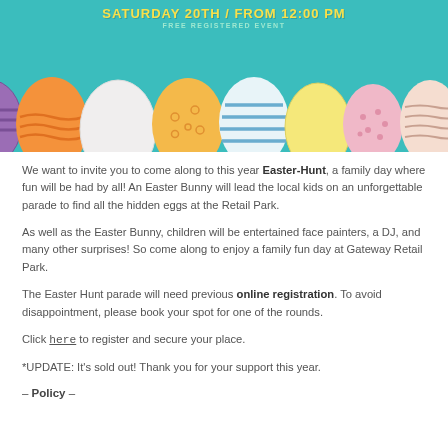[Figure (illustration): Easter-themed banner with teal background showing text 'SATURDAY 20TH / FROM 12:00 PM' and 'FREE REGISTERED EVENT' above colorful decorated Easter eggs in a row]
We want to invite you to come along to this year Easter-Hunt, a family day where fun will be had by all! An Easter Bunny will lead the local kids on an unforgettable parade to find all the hidden eggs at the Retail Park.
As well as the Easter Bunny, children will be entertained face painters, a DJ, and many other surprises! So come along to enjoy a family fun day at Gateway Retail Park.
The Easter Hunt parade will need previous online registration. To avoid disappointment, please book your spot for one of the rounds.
Click here to register and secure your place.
*UPDATE: It's sold out! Thank you for your support this year.
– Policy –